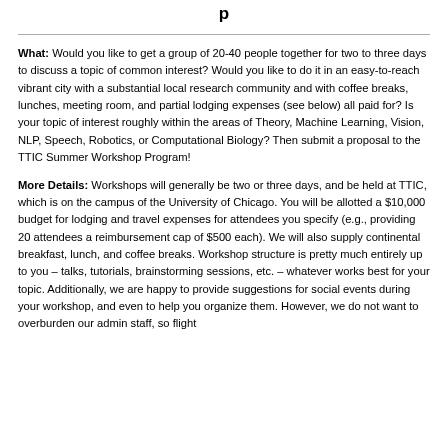p
What: Would you like to get a group of 20-40 people together for two to three days to discuss a topic of common interest? Would you like to do it in an easy-to-reach vibrant city with a substantial local research community and with coffee breaks, lunches, meeting room, and partial lodging expenses (see below) all paid for? Is your topic of interest roughly within the areas of Theory, Machine Learning, Vision, NLP, Speech, Robotics, or Computational Biology? Then submit a proposal to the TTIC Summer Workshop Program!
More Details: Workshops will generally be two or three days, and be held at TTIC, which is on the campus of the University of Chicago. You will be allotted a $10,000 budget for lodging and travel expenses for attendees you specify (e.g., providing 20 attendees a reimbursement cap of $500 each). We will also supply continental breakfast, lunch, and coffee breaks. Workshop structure is pretty much entirely up to you – talks, tutorials, brainstorming sessions, etc. – whatever works best for your topic. Additionally, we are happy to provide suggestions for social events during your workshop, and even to help you organize them. However, we do not want to overburden our admin staff, so flight